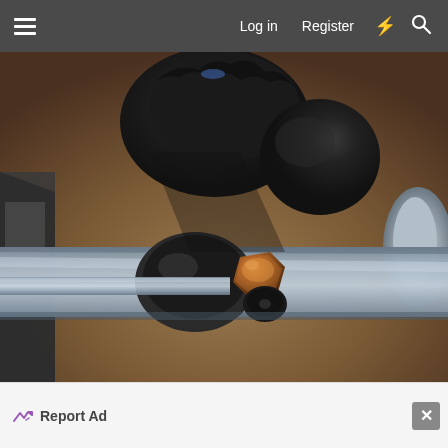Log in  Register
[Figure (photo): Close-up photo of automotive suspension or steering components: a black rubber ball joint boot at the top, a silver metal arm/tie rod running diagonally, and a copper/bronze colored hex nut with a lock nut at the lower center. Parts appear to be on a workbench against a dirt/gravel background.]
Report Ad